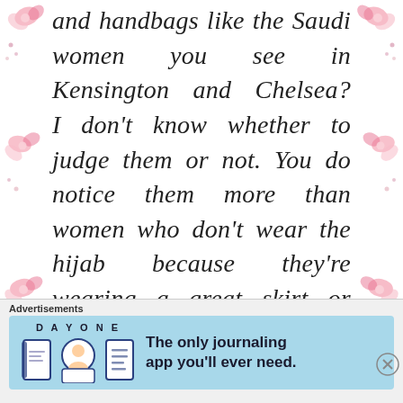and handbags like the Saudi women you see in Kensington and Chelsea?I don't know whether to judge them or not. You do notice them more than women who don't wear the hijab because they're wearing a great skirt or shoes or whatever and you think
[Figure (illustration): Pink floral decorative border on left side of page]
[Figure (illustration): Pink floral decorative border on right side of page]
Advertisements
[Figure (screenshot): Advertisement for DAY ONE journaling app. Shows app icons and text: The only journaling app you'll ever need.]